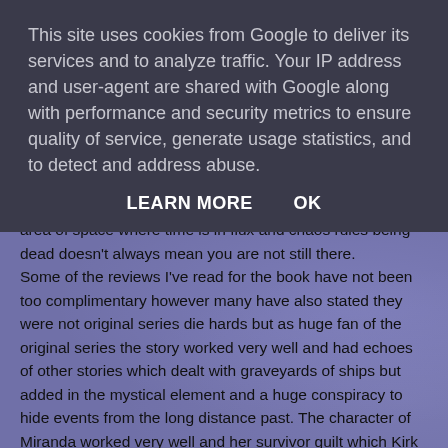This site uses cookies from Google to deliver its services and to analyze traffic. Your IP address and user-agent are shared with Google along with performance and security metrics to ensure quality of service, generate usage statistics, and to detect and address abuse.
LEARN MORE   OK
area of space where time is in flux and chaos rules being dead doesn't always mean you are not still there. Some of the reviews I've read for the book have not been too complimentary however many have also stated they were not original series die hards but as huge fan of the original series the story worked very well and had echoes of other stories which dealt with graveyards of ships but added in the mystical element and a huge conspiracy to hide events from the long distance past. The character of Miranda worked very well and her survivor guilt which Kirk also had to deal with after Tarsus IV was a key part of the story, it did add a lot of weight and onboard the derelicts within the folded space becomes critical to their hopes for survival. Overall I enjoyed the book and while everything eventually